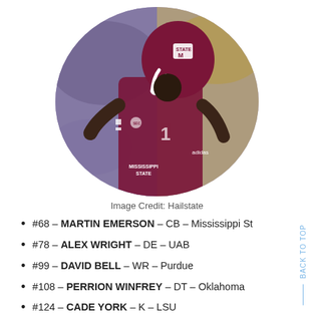[Figure (photo): Football player wearing a maroon Mississippi State helmet and jersey number 1, leaning forward in a game stance, with blurred crowd in background. Photo shown in an oval/ellipse crop.]
Image Credit: Hailstate
#68 – MARTIN EMERSON – CB – Mississippi St
#78 – ALEX WRIGHT – DE – UAB
#99 – DAVID BELL – WR – Purdue
#108 – PERRION WINFREY – DT – Oklahoma
#124 – CADE YORK – K – LSU